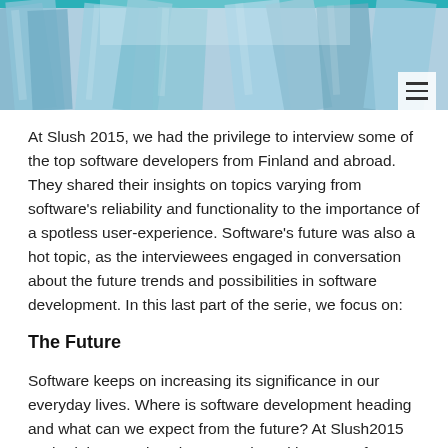[Figure (photo): Aerial/upward view of tall glass skyscrapers against a blue sky, teal/blue tones, with a hamburger menu icon overlay in the top-right corner.]
At Slush 2015, we had the privilege to interview some of the top software developers from Finland and abroad. They shared their insights on topics varying from software's reliability and functionality to the importance of a spotless user-experience. Software's future was also a hot topic, as the interviewees engaged in conversation about the future trends and possibilities in software development. In this last part of the serie, we focus on:
The Future
Software keeps on increasing its significance in our everyday lives. Where is software development heading and what can we expect from the future? At Slush2015 we had the amazing chance to chat with experts from some of the hottest startups around, Solu and